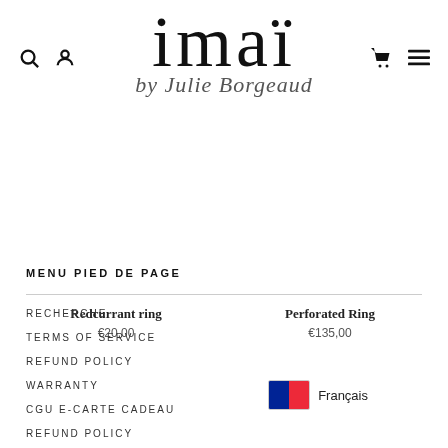imaï by Julie Borgeaud
Redcurrant ring €20,00
Perforated Ring €135,00
MENU PIED DE PAGE
RECHERCHE
TERMS OF SERVICE
REFUND POLICY
WARRANTY
CGU E-CARTE CADEAU
REFUND POLICY
CONTACT US
Français